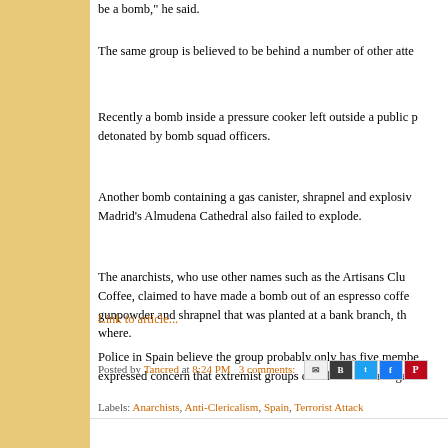The same group is believed to be behind a number of other atte
Recently a bomb inside a pressure cooker left outside a public p detonated by bomb squad officers.
Another bomb containing a gas canister, shrapnel and explosiv Madrid's Almudena Cathedral also failed to explode.
The anarchists, who use other names such as the Artisans Clu Coffee, claimed to have made a bomb out of an espresso coffe gunpowder and shrapnel that was planted at a bank branch, th where.
Police in Spain believe the group probably only has five membe expressed concern that extremist groups could take advantage disillusionment as unemployment in the country hits 26 percent
Link to article...
Posted by Tancred at 8:24 PM  3 comments:
Labels: Anarchists, Anti-Clericalism, Spain, Terrorist Attack